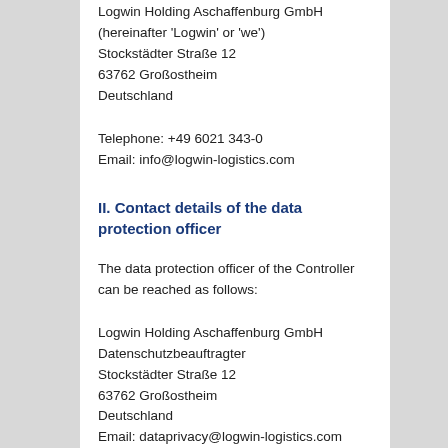Logwin Holding Aschaffenburg GmbH (hereinafter 'Logwin' or 'we')
Stockstädter Straße 12
63762 Großostheim
Deutschland
Telephone: +49 6021 343-0
Email: info@logwin-logistics.com
II. Contact details of the data protection officer
The data protection officer of the Controller can be reached as follows:
Logwin Holding Aschaffenburg GmbH
Datenschutzbeauftragter
Stockstädter Straße 12
63762 Großostheim
Deutschland
Email: dataprivacy@logwin-logistics.com
III. Concrete data handling